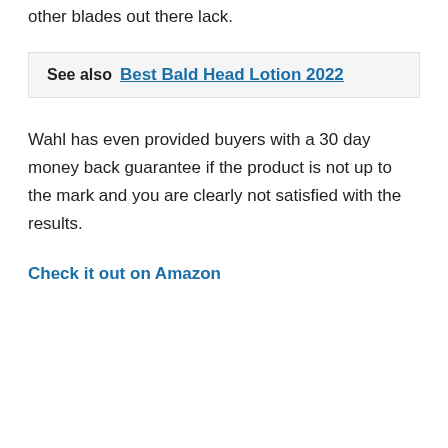other blades out there lack.
See also  Best Bald Head Lotion 2022
Wahl has even provided buyers with a 30 day money back guarantee if the product is not up to the mark and you are clearly not satisfied with the results.
Check it out on Amazon